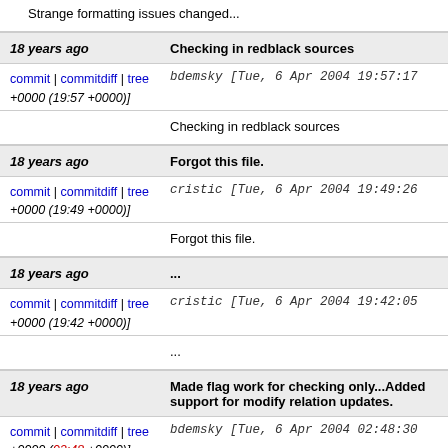Strange formatting issues changed...
18 years ago   Checking in redblack sources
commit | commitdiff | tree   bdemsky [Tue, 6 Apr 2004 19:57:17 +0000 (19:57 +0000)]
Checking in redblack sources
18 years ago   Forgot this file.
commit | commitdiff | tree   cristic [Tue, 6 Apr 2004 19:49:26 +0000 (19:49 +0000)]
Forgot this file.
18 years ago   ...
commit | commitdiff | tree   cristic [Tue, 6 Apr 2004 19:42:05 +0000 (19:42 +0000)]
...
18 years ago   Made flag work for checking only...Added support for modify relation updates.
commit | commitdiff | tree   bdemsky [Tue, 6 Apr 2004 02:48:30 +0000 (02:48 +0000)]